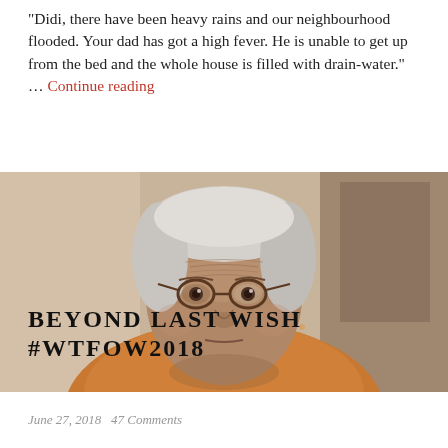"Didi, there have been heavy rains and our neighbourhood flooded. Your dad has got a high fever. He is unable to get up from the bed and the whole house is filled with drain-water." … Continue reading
[Figure (photo): Close-up portrait of an elderly South Asian woman with white hair, round glasses, wearing an orange/mustard garment, with a blurred background.]
BEYOND LAST WISH #WTFOW2018
June 27, 2018   47 Comments